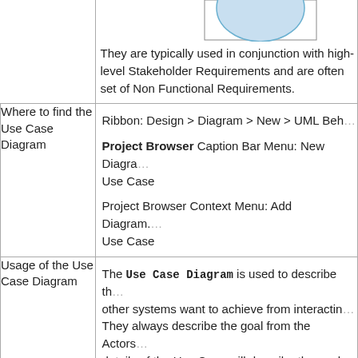[Figure (illustration): UML Use Case diagram ellipse/actor illustration partially visible at top of page]
They are typically used in conjunction with high-level Stakeholder Requirements and are often set of Non Functional Requirements.
Where to find the Use Case Diagram
Ribbon: Design > Diagram > New > UML Beh...
Project Browser Caption Bar Menu: New Diagram > Use Case
Project Browser Context Menu: Add Diagram... Use Case
Usage of the Use Case Diagram
The Use Case Diagram is used to describe the other systems want to achieve from interacting... They always describe the goal from the Actors... details of the Use Case will describe the goal...
Use Cases will often act as the basis for the d... Cases.